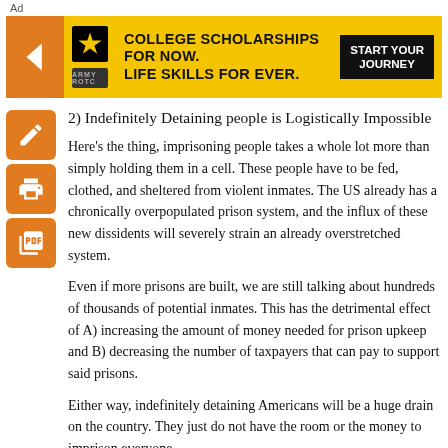Ad
[Figure (infographic): Army advertisement banner with orange arrow, Army/ROTC logos, text 'COLLEGE SCHOLARSHIPS FOR NOW. LIFE SKILLS FOR EVER.' and black CTA button 'START YOUR JOURNEY' on yellow background]
2) Indefinitely Detaining people is Logistically Impossible
Here's the thing, imprisoning people takes a whole lot more than simply holding them in a cell. These people have to be fed, clothed, and sheltered from violent inmates. The US already has a chronically overpopulated prison system, and the influx of these new dissidents will severely strain an already overstretched system.
Even if more prisons are built, we are still talking about hundreds of thousands of potential inmates. This has the detrimental effect of A) increasing the amount of money needed for prison upkeep and B) decreasing the number of taxpayers that can pay to support said prisons.
Either way, indefinitely detaining Americans will be a huge drain on the country. They just do not have the room or the money to imprison everyone.
3) Remember: It is still in the Courts
There are three steps in the life of a court case. It is first